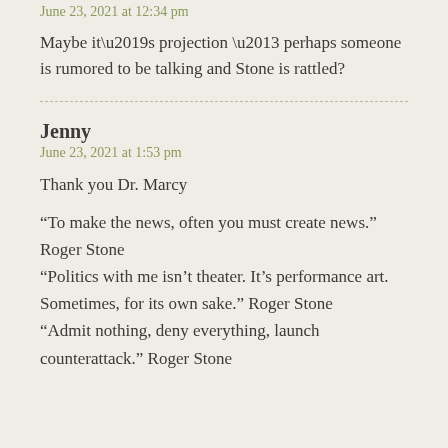June 23, 2021 at 12:34 pm
Maybe it’s projection – perhaps someone is rumored to be talking and Stone is rattled?
Jenny
June 23, 2021 at 1:53 pm
Thank you Dr. Marcy
“To make the news, often you must create news.” Roger Stone
“Politics with me isn’t theater. It’s performance art. Sometimes, for its own sake.” Roger Stone
“Admit nothing, deny everything, launch counterattack.” Roger Stone